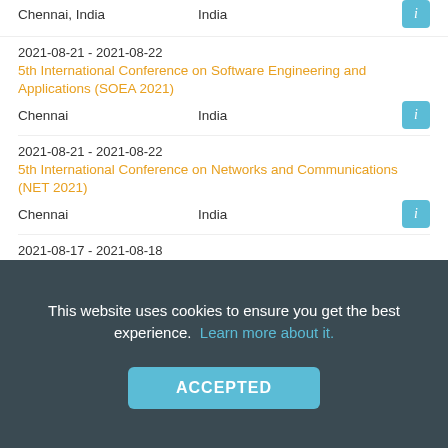Chennai, India — India [i]
2021-08-21 - 2021-08-22
5th International Conference on Software Engineering and Applications (SOEA 2021)
Chennai   India
2021-08-21 - 2021-08-22
5th International Conference on Networks and Communications (NET 2021)
Chennai   India
2021-08-17 - 2021-08-18
37th World Conference on Applied Science Engineering & Technology
Jakarta   Indonesia
2021-08-16 - 2021-08-19
3rd International Conference on Graphene and Novel Nanomaterials (GNN 2021)
This website uses cookies to ensure you get the best experience. Learn more about it.
ACCEPTED